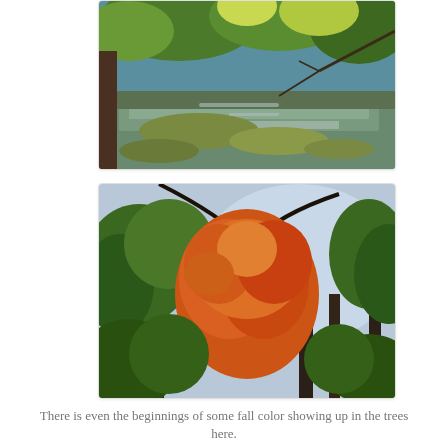[Figure (photo): A river or stream scene with shallow water flowing over mossy rocks, surrounded by green trees and foliage under a blue sky with sunlight filtering through branches.]
[Figure (photo): An upward view of autumn forest trees, featuring one tree with vivid orange-red fall foliage surrounded by still-green trees, against a light grey-blue sky.]
There is even the beginnings of some fall color showing up in the trees here.